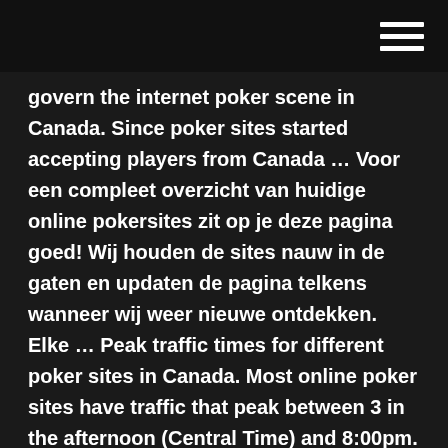govern the internet poker scene in Canada. Since poker sites started accepting players from Canada … Voor een compleet overzicht van huidige online pokersites zit op je deze pagina goed! Wij houden de sites nauw in de gaten en updaten de pagina telkens wanneer wij weer nieuwe ontdekken. Elke … Peak traffic times for different poker sites in Canada. Most online poker sites have traffic that peak between 3 in the afternoon (Central Time) and 8:00pm. The exception to this rule would be Bodog … Jan 13, 2021 Top Ten Poker Sites for Canadian Players! 888 Poker. 888 Poker is a top rated option amongst Canadian recreational poker players. Competition levels vary but there's always plenty of fish floating around. … We would like to show you a description here but the site won't allow